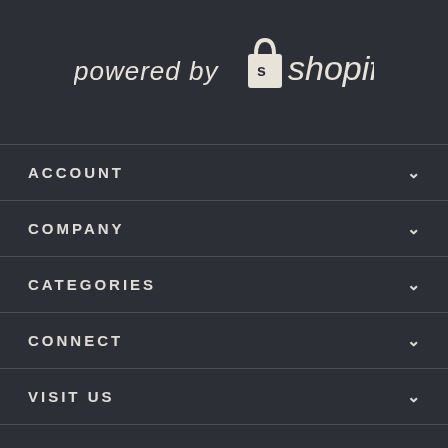[Figure (logo): Powered by Shopify logo — italic text 'powered by' followed by Shopify bag icon and 'shopify' wordmark in cream/off-white on dark background]
ACCOUNT
COMPANY
CATEGORIES
CONNECT
VISIT US